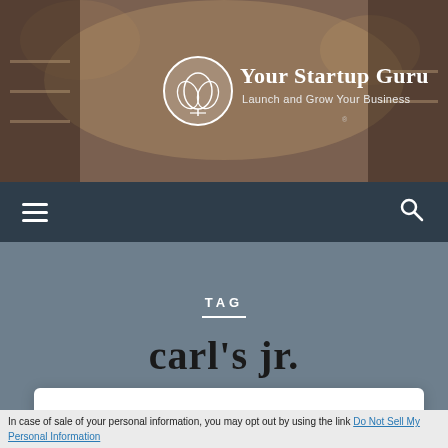[Figure (photo): Website header banner showing a boutique clothing store interior with warm lighting, clothing racks visible. Logo circle with lotus/flower emblem, site title 'Your Startup Guru' and tagline 'Launch and Grow Your Business' overlaid.]
Your Startup Guru — Launch and Grow Your Business
TAG
carl's jr.
Product extension
In case of sale of your personal information, you may opt out by using the link Do Not Sell My Personal Information
When you think of Carl's Jr., you think of burgers. Maybe other things too but mainly burgers.